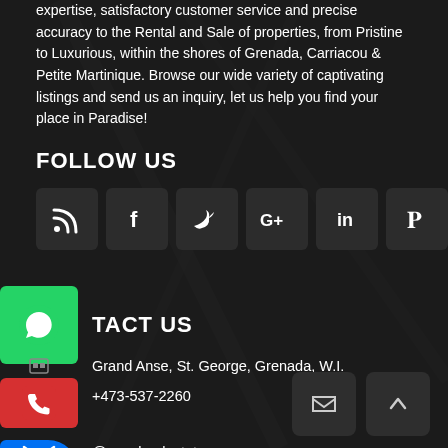expertise, satisfactory customer service and precise accuracy to the Rental and Sale of properties, from Pristine to Luxurious, within the shores of Grenada, Carriacou & Petite Martinique. Browse our wide variety of captivating listings and send us an inquiry, let us help you find your place in Paradise!
FOLLOW US
[Figure (infographic): Row of 7 social media icon buttons: RSS feed, Facebook, Twitter, Google+, LinkedIn, Pinterest, Instagram]
CONTACT US
Grand Anse, St. George, Grenada, W.I.
+473-537-2260
@copalrealestate.com
https://copalrealestate.com